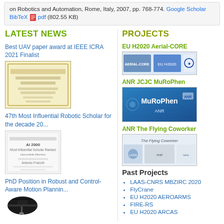on Robotics and Automation, Rome, Italy, 2007, pp. 768-774. Google Scholar BibTeX pdf (802.55 KB)
LATEST NEWS
PROJECTS
Best UAV paper award at IEEE ICRA 2021 Finalist
[Figure (photo): Certificate image for Best UAV paper award at IEEE ICRA 2021 Finalist]
47th Most Influential Robotic Scholar for the decade 20...
[Figure (photo): AI 2000 Most Influential Scholar certificate image]
PhD Position in Robust and Control-Aware Motion Plannin...
[Figure (photo): Graduation cap image for PhD position]
EU H2020 Aerial-CORE
[Figure (photo): EU H2020 Aerial-CORE project logos]
ANR JCJC MuRoPhen
[Figure (photo): MuRoPhen project image with blue background]
ANR The Flying Coworker
[Figure (photo): The Flying Coworker project logos]
Past Projects
LAAS-CNRS MBZIRC 2020
FlyCrane
EU H2020 AEROARMS
FIRE-RS
EU H2020 ARCAS